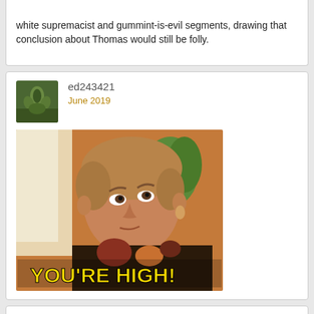white supremacist and gummint-is-evil segments, drawing that conclusion about Thomas would still be folly.
ed243421
June 2019
[Figure (photo): Meme image of a woman looking skeptical with text 'YOU'RE HIGH!' in yellow letters at the bottom]
dankind
June 2019